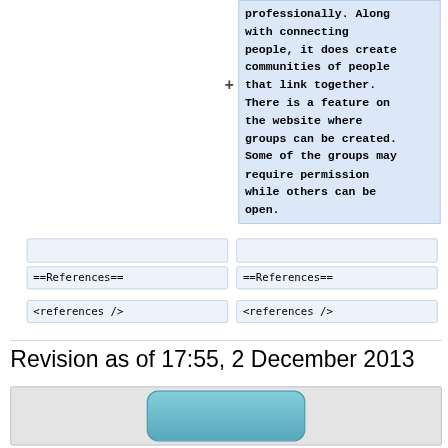professionally. Along with connecting people, it does create communities of people that link together. There is a feature on the website where groups can be created. Some of the groups may require permission while others can be open.
==References==
<references />
==References==
<references />
Revision as of 17:55, 2 December 2013
[Figure (screenshot): Bottom portion of a page showing a teal/blue rounded rectangle button element on a grey background]